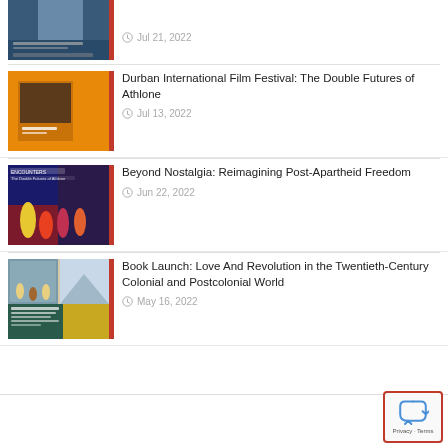[Figure (photo): Thumbnail image of an event or person, partially cropped at top]
Jul 21, 2022
[Figure (photo): Orange background book/event cover for Durban International Film Festival: The Double Futures of Athlone]
Durban International Film Festival: The Double Futures of Athlone
Jul 13, 2022
[Figure (photo): Colorful photo with Encounters / Double Futures of Athlone text and performers]
Beyond Nostalgia: Reimagining Post-Apartheid Freedom
Jun 22, 2022
[Figure (photo): Book cover collage for Love And Revolution in the Twentieth-Century Colonial and Postcolonial World]
Book Launch: Love And Revolution in the Twentieth-Century Colonial and Postcolonial World
May 16, 2022